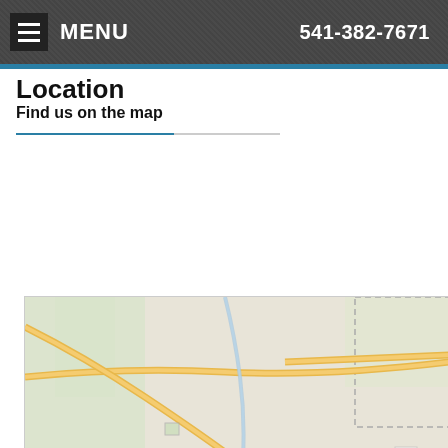MENU   541-382-7671
Location
Find us on the map
[Figure (map): Interactive street map centered on Bend, Oregon showing location marker at 530 SW Millview Way #1, Bend, OR, 97702, US. Map shows Tumalo to the north, Bend city area, Highway 97, and surrounding regions. Zoom in/out controls visible on left. Address popup displayed: '530 SW Millview Way #1, Bend, OR, 97702, US'. Blue location pin marker shown in Bend area.]
530 SW Millview Way #1, Bend, OR, 97702, US
Accessibility View